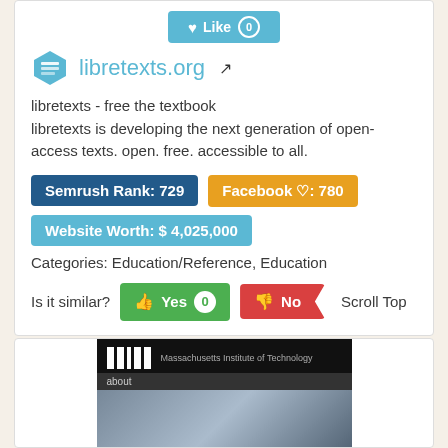[Figure (screenshot): Like button with count 0 at top of card]
[Figure (logo): LibreTexts hexagonal book logo in blue]
libretexts.org
libretexts - free the textbook
libretexts is developing the next generation of open-access texts. open. free. accessible to all.
Semrush Rank: 729
Facebook ♡: 780
Website Worth: $ 4,025,000
Categories: Education/Reference, Education
Is it similar?
Yes 0
No
Scroll Top
[Figure (screenshot): MIT website screenshot showing MIT logo and Massachusetts Institute of Technology text with about navigation]